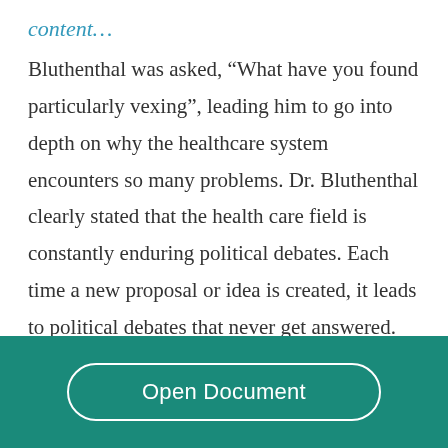content…
Bluthenthal was asked, “What have you found particularly vexing”, leading him to go into depth on why the healthcare system encounters so many problems. Dr. Bluthenthal clearly stated that the health care field is constantly enduring political debates. Each time a new proposal or idea is created, it leads to political debates that never get answered. Dr. Bluthenthal also stated “ there are a lot of opinionative people, which causes it even
Open Document